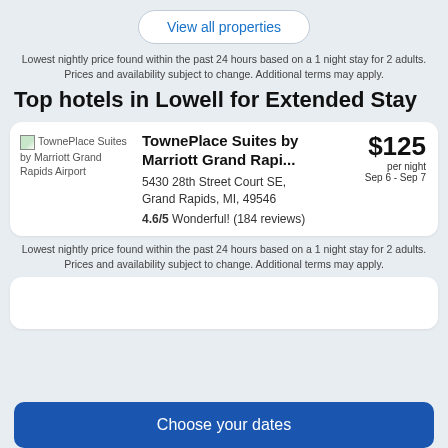View all properties
Lowest nightly price found within the past 24 hours based on a 1 night stay for 2 adults. Prices and availability subject to change. Additional terms may apply.
Top hotels in Lowell for Extended Stay
[Figure (photo): TownePlace Suites by Marriott Grand Rapids Airport hotel thumbnail image placeholder]
TownePlace Suites by Marriott Grand Rapi...
$125 per night Sep 6 - Sep 7
5430 28th Street Court SE, Grand Rapids, MI, 49546
4.6/5 Wonderful! (184 reviews)
Lowest nightly price found within the past 24 hours based on a 1 night stay for 2 adults. Prices and availability subject to change. Additional terms may apply.
Choose your dates